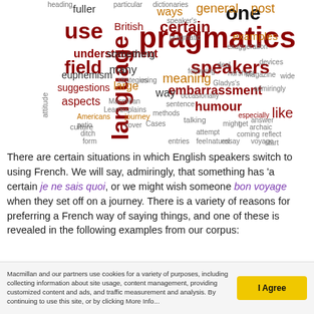[Figure (other): Word cloud featuring linguistics and pragmatics terms. Prominent words include 'pragmatics' (large, dark red), 'one', 'use', 'language', 'speakers', 'certain', 'field', 'embarrassment', 'humour', 'meaning', 'understatement', 'euphemism', 'suggestions', 'aspects', 'ways', 'general', 'post', 'fuller', 'British', 'like', 'way', 'many', 'large', 'something', and many others in various sizes and colors (dark red, orange, brown, black).]
There are certain situations in which English speakers switch to using French. We will say, admiringly, that something has 'a certain je ne sais quoi, or we might wish someone bon voyage when they set off on a journey. There is a variety of reasons for preferring a French way of saying things, and one of these is revealed in the following examples from our corpus:
Macmillan and our partners use cookies for a variety of purposes, including collecting information about site usage, content management, providing customized content and ads, and traffic measurement and analysis. By continuing to use this site, or by clicking More Info...